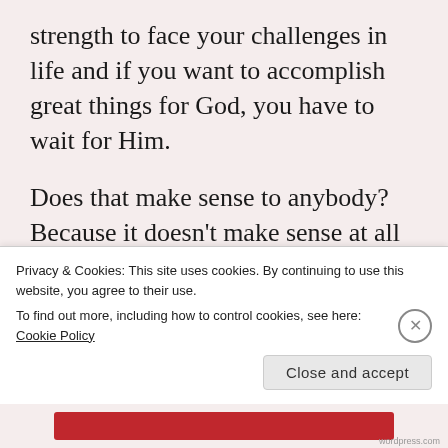strength to face your challenges in life and if you want to accomplish great things for God, you have to wait for Him.
Does that make sense to anybody? Because it doesn't make sense at all if we're trying to be rational about this. The Bible is saying that we will accomplish bigger and better things and more of them if we sit around waiting? One school of thought might understand that sitting and waiting will help with the tired and worn out feeling, but personally I find waiting to be exhausting. So it's not
Privacy & Cookies: This site uses cookies. By continuing to use this website, you agree to their use.
To find out more, including how to control cookies, see here: Cookie Policy
Close and accept